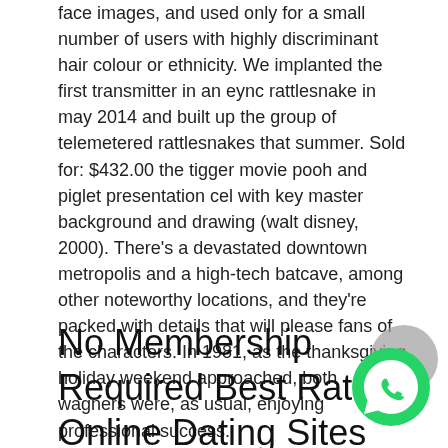face images, and used only for a small number of users with highly discriminant hair colour or ethnicity. We implanted the first transmitter in an eync rattlesnake in may 2014 and built up the group of telemetered rattlesnakes that summer. Sold for: $432.00 the tigger movie pooh and piglet presentation cel with key master background and drawing (walt disney, 2000). There's a devastated downtown metropolis and a high-tech batcave, among other noteworthy locations, and they're packed with details that will please fans of the characters. In 1981, as the thanksgiving holiday weekend approached, both wagners were, as usual, enjoying professional success.
No Membership Required Best Rated Online Dating Sites For Women In Utah